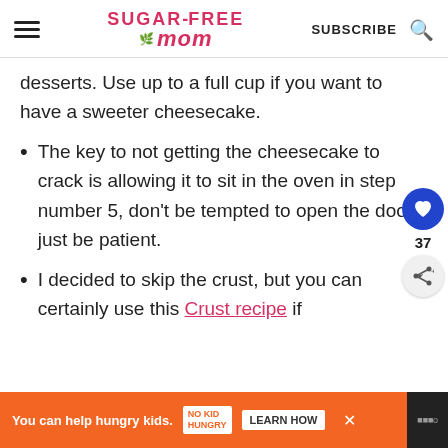Sugar-Free Mom | SUBSCRIBE
desserts. Use up to a full cup if you want to have a sweeter cheesecake.
The key to not getting the cheesecake to crack is allowing it to sit in the oven in step number 5, don't be tempted to open the door, just be patient.
I decided to skip the crust, but you can certainly use this Crust recipe if